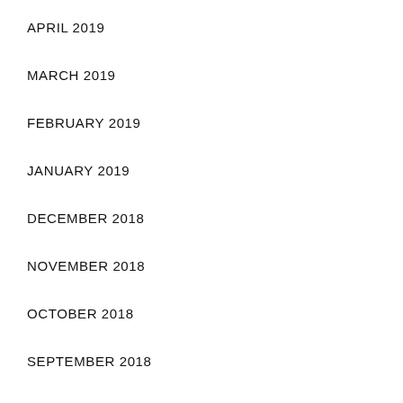APRIL 2019
MARCH 2019
FEBRUARY 2019
JANUARY 2019
DECEMBER 2018
NOVEMBER 2018
OCTOBER 2018
SEPTEMBER 2018